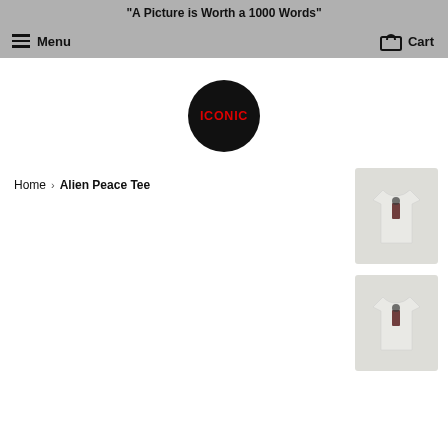"A Picture is Worth a 1000 Words"
Menu   Cart
[Figure (logo): Black circle logo with red bold text 'ICONIC' in the center]
Home › Alien Peace Tee
[Figure (photo): Light grey t-shirt with small graphic print on chest, shown as product thumbnail]
[Figure (photo): Light grey t-shirt with small graphic print on chest, shown as product thumbnail (second view)]